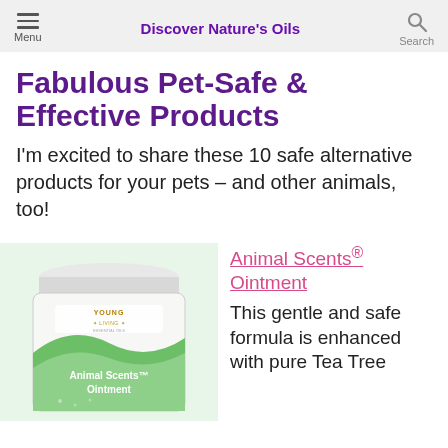Discover Nature's Oils
Fabulous Pet-Safe & Effective Products
I'm excited to share these 10 safe alternative products for your pets – and other animals, too!
[Figure (photo): Animal Scents Ointment jar from Young Living — a white round container with a green and white label showing the Young Living logo and product name.]
Animal Scents® Ointment
This gentle and safe formula is enhanced with pure Tea Tree (Melaleuca...